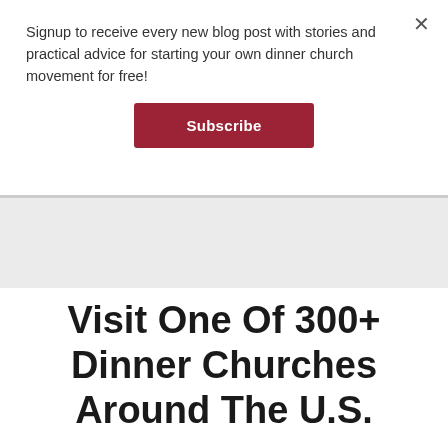Signup to receive every new blog post with stories and practical advice for starting your own dinner church movement for free!
Subscribe
Visit One Of 300+ Dinner Churches Around The U.S.
Or Learn More about Regional